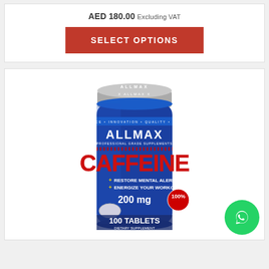AED 180.00 Excluding VAT
SELECT OPTIONS
[Figure (photo): ALLMAX Caffeine 200mg 100 Tablets dietary supplement bottle with blue label, silver cap. Label reads: ALLMAX CAFFEINE, RESTORE MENTAL ALERTNESS, ENERGIZE YOUR WORKOUTS, 200 mg, 100 TABLETS DIETARY SUPPLEMENT]